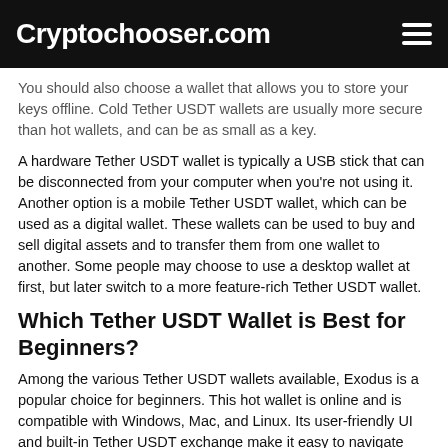Cryptochooser.com
You should also choose a wallet that allows you to store your keys offline. Cold Tether USDT wallets are usually more secure than hot wallets, and can be as small as a key.
A hardware Tether USDT wallet is typically a USB stick that can be disconnected from your computer when you're not using it. Another option is a mobile Tether USDT wallet, which can be used as a digital wallet. These wallets can be used to buy and sell digital assets and to transfer them from one wallet to another. Some people may choose to use a desktop wallet at first, but later switch to a more feature-rich Tether USDT wallet.
Which Tether USDT Wallet is Best for Beginners?
Among the various Tether USDT wallets available, Exodus is a popular choice for beginners. This hot wallet is online and is compatible with Windows, Mac, and Linux. Its user-friendly UI and built-in Tether USDT exchange make it easy to navigate and use.